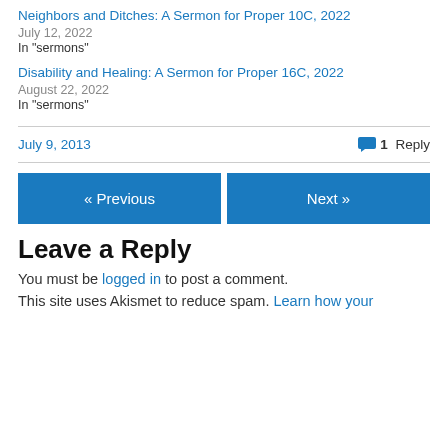Neighbors and Ditches: A Sermon for Proper 10C, 2022
July 12, 2022
In "sermons"
Disability and Healing: A Sermon for Proper 16C, 2022
August 22, 2022
In "sermons"
July 9, 2013
1 Reply
« Previous
Next »
Leave a Reply
You must be logged in to post a comment.
This site uses Akismet to reduce spam. Learn how your